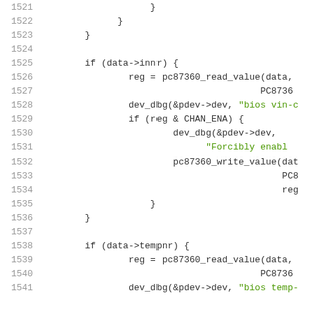[Figure (screenshot): Source code listing showing lines 1521-1541 of a C kernel driver file. Lines include closing braces, if statements checking data->innr and data->tempnr, calls to pc87360_read_value, dev_dbg, pc87360_write_value, with string literals in green for debug messages.]